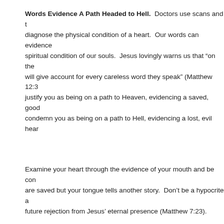Words Evidence A Path Headed to Hell.  Doctors use scans and to diagnose the physical condition of a heart.  Our words can evidence spiritual condition of our souls.  Jesus lovingly warns us that "on the will give account for every careless word they speak" (Matthew 12:3 justify you as being on a path to Heaven, evidencing a saved, good condemn you as being on a path to Hell, evidencing a lost, evil hear
Examine your heart through the evidence of your mouth and be cone are saved but your tongue tells another story.  Don't be a hypocrite a future rejection from Jesus' eternal presence (Matthew 7:23).
James 1:26 “If anyone thinks he is religious and does not bridle his t heart, this person's religion is worthless.”
We can we do about all of this today?  We can listen to God's words